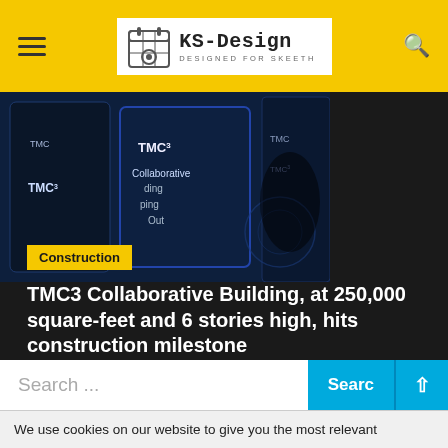KS-Design — DESIGNED FOR SKEETH
[Figure (photo): Photo showing TMC3 building screens displaying 'TMC3', 'Collaborative Building', 'Helping Out' text on dark blue digital displays]
Construction
TMC3 Collaborative Building, at 250,000 square-feet and 6 stories high, hits construction milestone
5 months ago  Inez Caron
...
Search ...
We use cookies on our website to give you the most relevant